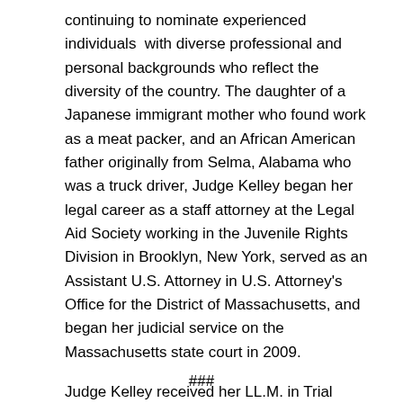continuing to nominate experienced individuals with diverse professional and personal backgrounds who reflect the diversity of the country. The daughter of a Japanese immigrant mother who found work as a meat packer, and an African American father originally from Selma, Alabama who was a truck driver, Judge Kelley began her legal career as a staff attorney at the Legal Aid Society working in the Juvenile Rights Division in Brooklyn, New York, served as an Assistant U.S. Attorney in U.S. Attorney's Office for the District of Massachusetts, and began her judicial service on the Massachusetts state court in 2009.
Judge Kelley received her LL.M. in Trial Advocacy from Temple University in 2003, her J.D. from Georgetown University in 1992, and her B.A. from Colgate University in 1989.
###